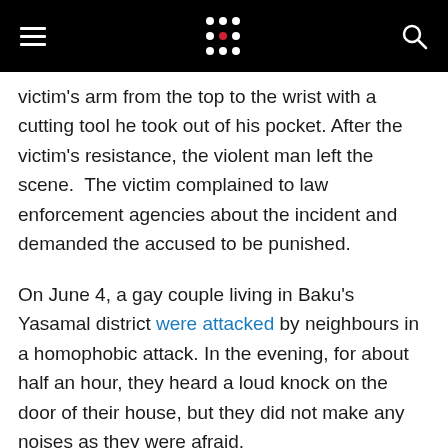Navigation header with hamburger menu, logo dots, and search icon
victim's arm from the top to the wrist with a cutting tool he took out of his pocket. After the victim's resistance, the violent man left the scene.  The victim complained to law enforcement agencies about the incident and demanded the accused to be punished.
On June 4, a gay couple living in Baku's Yasamal district were attacked by neighbours in a homophobic attack. In the evening, for about half an hour, they heard a loud knock on the door of their house, but they did not make any noises as they were afraid.